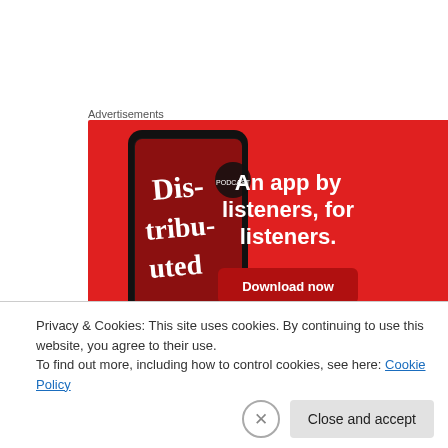Advertisements
[Figure (illustration): Advertisement banner for a podcast app: red background with a smartphone showing a podcast app screen with text 'Dis-tribu-ted'. Right side has text 'An app by listeners, for listeners.' and a 'Download now' button.]
In league play, the best thing going for OSU is that they
Privacy & Cookies: This site uses cookies. By continuing to use this website, you agree to their use.
To find out more, including how to control cookies, see here: Cookie Policy
Close and accept